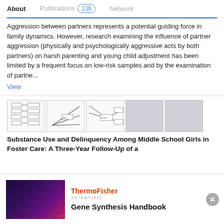About   Publications 136   Network
Aggression between partners represents a potential guiding force in family dynamics. However, research examining the influence of partner aggression (physically and psychologically aggressive acts by both partners) on harsh parenting and young child adjustment has been limited by a frequent focus on low-risk samples and by the examination of partne...
View
[Figure (schematic): Five thumbnail images of research figures including flowcharts and path diagrams]
Substance Use and Delinquency Among Middle School Girls in Foster Care: A Three-Year Follow-Up of a
[Figure (other): Advertisement image with dark purple gradient background showing a person]
ThermoFisher SCIENTIFIC
Gene Synthesis Handbook